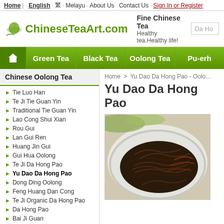Home | English · 繁 · Melayu · About Us · Contact Us · Sign In or Register
[Figure (logo): ChineseTeaArt.com logo with green leaf icon, tagline: Fine Chinese Tea, Healthy tea.Healthy life!]
Green Tea | Black Tea | Oolong Tea | Pu-erh
Chinese Oolong Tea
Tie Luo Han
Te Ji Tie Guan Yin
Traditional Tie Guan Yin
Lao Cong Shui Xian
Rou Gui
Lan Gui Ren
Huang Jin Gui
Gui Hua Oolong
Te Ji Da Hong Pao
Yu Dao Da Hong Pao
Dong Ding Oolong
Feng Huang Dan Cong
Te Ji Organic Da Hong Pao
Da Hong Pao
Bai Ji Guan
Home > Yu Dao Da Hong Pao - Oolo...
Yu Dao Da Hong Pao
[Figure (photo): Photo of dark twisted Da Hong Pao oolong tea leaves on a white plate with green tea leaves in background]